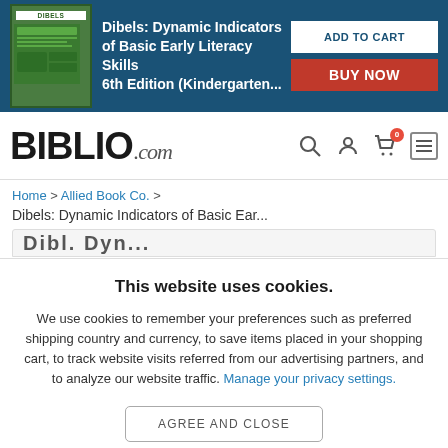[Figure (screenshot): Ad banner with book cover for Dibels: Dynamic Indicators of Basic Early Literacy Skills 6th Edition, with ADD TO CART and BUY NOW buttons]
[Figure (logo): BIBLIO.com logo with navigation icons (search, account, cart with 0, menu)]
Home > Allied Book Co. > Dibels: Dynamic Indicators of Basic Ear...
This website uses cookies.
We use cookies to remember your preferences such as preferred shipping country and currency, to save items placed in your shopping cart, to track website visits referred from our advertising partners, and to analyze our website traffic. Manage your privacy settings.
AGREE AND CLOSE